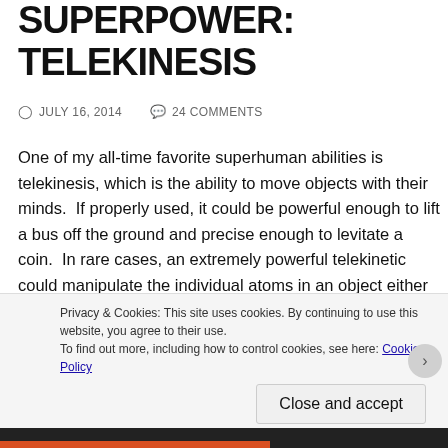SUPERPOWER: TELEKINESIS
JULY 16, 2014   24 COMMENTS
One of my all-time favorite superhuman abilities is telekinesis, which is the ability to move objects with their minds. If properly used, it could be powerful enough to lift a bus off the ground and precise enough to levitate a coin. In rare cases, an extremely powerful telekinetic could manipulate the individual atoms in an object either to rearrange them in a different way or to dismantle the object on an atomic level. However, despite its generally basic concept, I realized that this power can be utilized for dark and violent purposes. In anime such as
Privacy & Cookies: This site uses cookies. By continuing to use this website, you agree to their use.
To find out more, including how to control cookies, see here: Cookie Policy